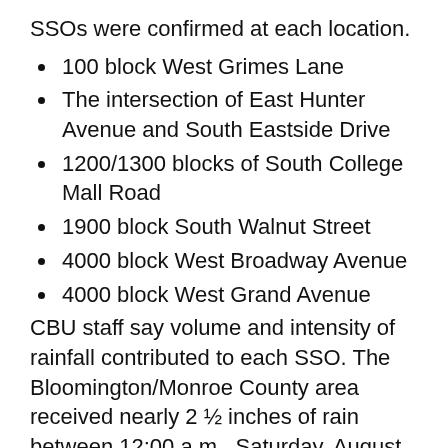SSOs were confirmed at each location.
100 block West Grimes Lane
The intersection of East Hunter Avenue and South Eastside Drive
1200/1300 blocks of South College Mall Road
1900 block South Walnut Street
4000 block West Broadway Avenue
4000 block West Grand Avenue
CBU staff say volume and intensity of rainfall contributed to each SSO. The Bloomington/Monroe County area received nearly 2 ½ inches of rain between 12:00 a.m., Saturday, August 13, and 9:00 a.m., Sunday, August 14.
The process of determining the volume of flow generated from each sanitary sewer overflow is ongoing. The City of Bloomington Utilities followed the proper clean-up protocol in